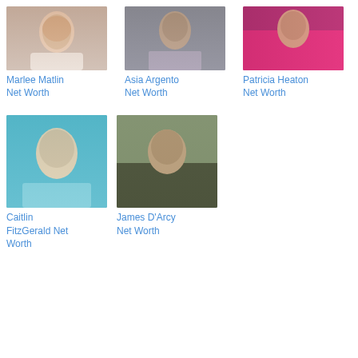[Figure (photo): Photo of Marlee Matlin, a woman with curly brown hair, smiling, wearing jewelry]
Marlee Matlin Net Worth
[Figure (photo): Photo of Asia Argento, a woman with dark hair, wearing an ornate silver dress]
Asia Argento Net Worth
[Figure (photo): Photo of Patricia Heaton, a woman wearing a bright pink strapless dress]
Patricia Heaton Net Worth
[Figure (photo): Photo of Caitlin FitzGerald, a woman with blonde curly hair against a teal background]
Caitlin FitzGerald Net Worth
[Figure (photo): Photo of James D'Arcy, a young man with brown hair wearing a leather jacket]
James D'Arcy Net Worth